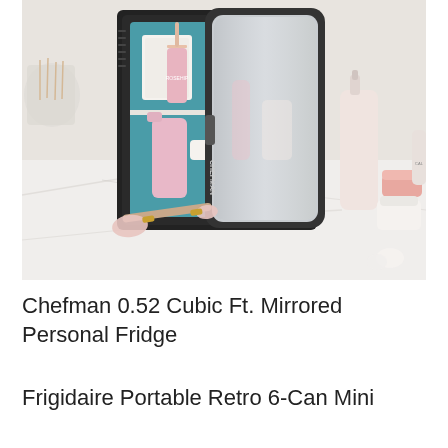[Figure (photo): A Chefman mini fridge with a mirrored door open, showing skincare products inside including a dropper bottle and pink bottles. The fridge is placed on a marble surface surrounded by beauty products including serums, creams, and a jade roller.]
Chefman 0.52 Cubic Ft. Mirrored Personal Fridge
Frigidaire Portable Retro 6-Can Mini